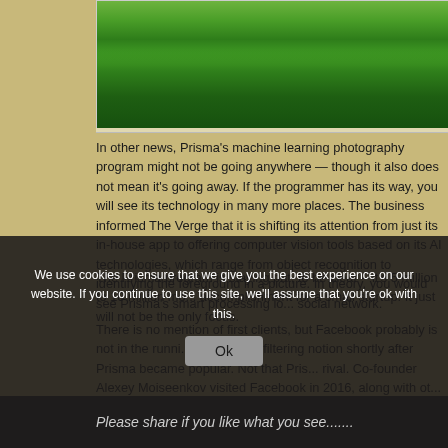[Figure (photo): Photograph of green trees with dense foliage, partially cropped at the top of the page, showing a riverside or outdoor landscape scene.]
In other news, Prisma's machine learning photography program might not be going anywhere — though it also does not mean it's going away. If the programmer has its way, you will see its technology in many more places. The business informed The Verge that it is shifting its attention from just its in-house app to offering computer vision tools based on its AI technologies, which range from object recognition to identifying the foreground in a picture. In theory, you would see Prisma's smart processing layered into your favorite social network.
The Prisma program is staying put, to be clear – it's 5 million to 10 million monthly users is no small accomplishment for a small startup. It just will not be the only focus.
There is no mention of first clients, but Facebook probably is not in the running given that it launched its own photograph filtering notion shortly after Prisma became popular. Not that Pris... rival. Co-founder Alexey Moiseenkov visited Facebook in 2016, along with ot... didn't matter what Prisma was set into. As times advanced, experience on website. fa... machines th... instead of paying for a toolkit.
We use cookies to ensure that we give you the best experience on our website. If you continue to use this site, we'll assume that you're ok with this.
Ok
Please share if you like what you see.......